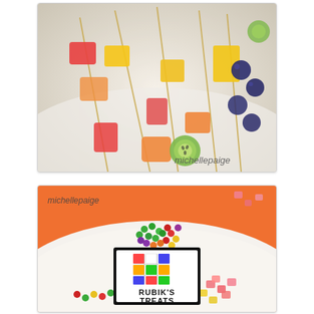[Figure (photo): Close-up photo of colorful fruit skewers on wooden toothpicks — watermelon, pineapple, cantaloupe, kiwi, blueberries on a white plate. Watermark 'michellepaige' in bottom right corner.]
[Figure (photo): Photo of a white bowl/plate filled with Skittles and candy pieces on an orange tablecloth. A sign in the center reads 'RUBIK'S TREATS' with a Rubik's cube image above the text. Watermark 'michellepaige' in top left corner.]